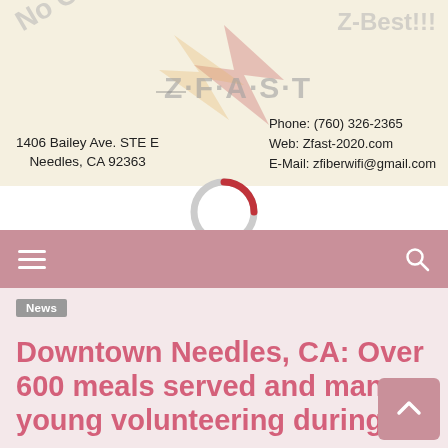[Figure (advertisement): Z-Best/Z-Fast advertisement banner with logo, watermark text 'No Contracts!' and 'Z-Best!!!', address '1406 Bailey Ave. STE E, Needles, CA 92363', phone (760) 326-2365, web Zfast-2020.com, email zfiberwifi@gmail.com]
[Figure (other): Loading spinner circle indicator, partially crimson/red arc on white circle]
[Figure (other): Pink/mauve navigation bar with hamburger menu icon on left and search (magnifying glass) icon on right]
News
Downtown Needles, CA: Over 600 meals served and many young volunteering during